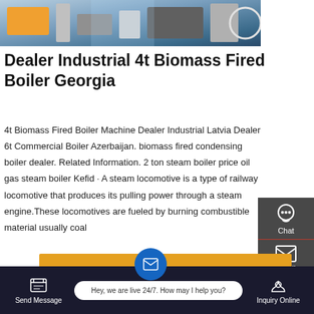[Figure (photo): Industrial photo showing machinery, possibly boiler equipment in a factory setting]
Dealer Industrial 4t Biomass Fired Boiler Georgia
4t Biomass Fired Boiler Machine Dealer Industrial Latvia Dealer 6t Commercial Boiler Azerbaijan. biomass fired condensing boiler dealer. Related Information. 2 ton steam boiler price oil gas steam boiler Kefid · A steam locomotive is a type of railway locomotive that produces its pulling power through a steam engine.These locomotives are fueled by burning combustible material usually coal
[Figure (screenshot): Sidebar with Chat, Email, Contact, and Top navigation buttons on dark grey background]
[Figure (screenshot): Get a Quote orange button]
[Figure (screenshot): Bottom navigation bar with Send Message, live chat bubble saying Hey, we are live 24/7. How may I help you?, and Inquiry Online buttons]